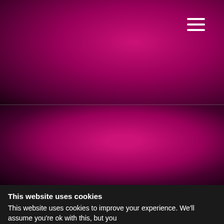[Figure (screenshot): Top half of a webpage with a deep magenta/purple radial gradient background and a hamburger menu icon (three white horizontal lines) in the top-right corner.]
[Figure (screenshot): Bottom section of the webpage with a similar dark magenta/purple radial gradient and two white loading dots (one smaller, one larger) centered slightly right of middle.]
This website uses cookies
This website uses cookies to improve your experience. We'll assume you're ok with this, but you